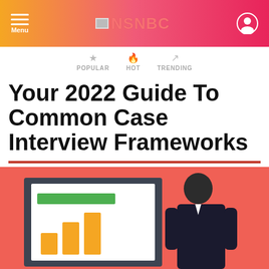Menu | NSNBC | [user icon]
POPULAR  HOT  TRENDING
Your 2022 Guide To Common Case Interview Frameworks
[Figure (illustration): Illustration of a person in a suit standing in front of a presentation board with bar charts on a coral/salmon red background]